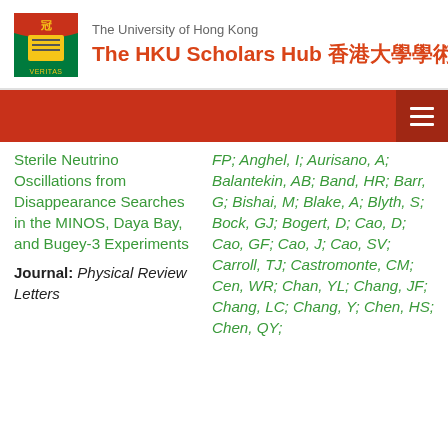The University of Hong Kong — The HKU Scholars Hub 香港大學學術庫
Sterile Neutrino Oscillations from Disappearance Searches in the MINOS, Daya Bay, and Bugey-3 Experiments
Journal: Physical Review Letters
FP; Anghel, I; Aurisano, A; Balantekin, AB; Band, HR; Barr, G; Bishai, M; Blake, A; Blyth, S; Bock, GJ; Bogert, D; Cao, D; Cao, GF; Cao, J; Cao, SV; Carroll, TJ; Castromonte, CM; Cen, WR; Chan, YL; Chang, JF; Chang, LC; Chang, Y; Chen, HS; Chen, QY;